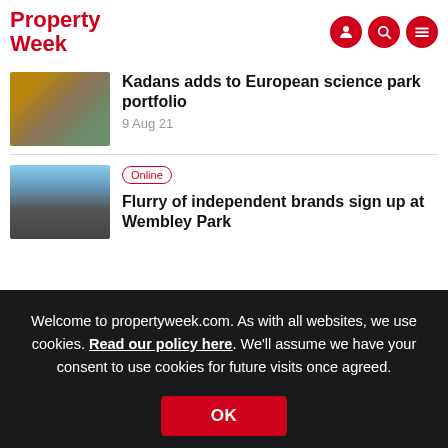Property Week
Kadans adds to European science park portfolio
9 Aug 21
Online
Flurry of independent brands sign up at Wembley Park
Welcome to propertyweek.com. As with all websites, we use cookies. Read our policy here. We'll assume we have your consent to use cookies for future visits once agreed.
OK
News